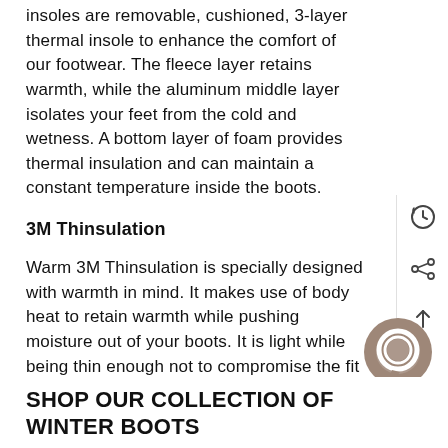insoles are removable, cushioned, 3-layer thermal insole to enhance the comfort of our footwear. The fleece layer retains warmth, while the aluminum middle layer isolates your feet from the cold and wetness. A bottom layer of foam provides thermal insulation and can maintain a constant temperature inside the boots.
3M Thinsulation
Warm 3M Thinsulation is specially designed with warmth in mind. It makes use of body heat to retain warmth while pushing moisture out of your boots. It is light while being thin enough not to compromise the fit of the shoes.
[Figure (other): Chat support bubble icon (brownish-grey circle with chat bubble shape)]
SHOP OUR COLLECTION OF WINTER BOOTS